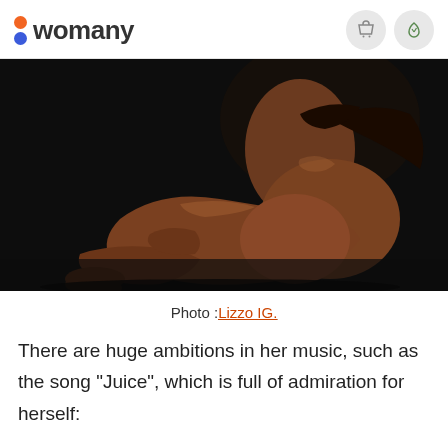womany
[Figure (photo): Artistic black-background photograph of a dark-skinned woman seated with legs extended, shot from behind/side, nude artistic pose against dark background.]
Photo :Lizzo IG.
There are huge ambitions in her music, such as the song "Juice", which is full of admiration for herself: